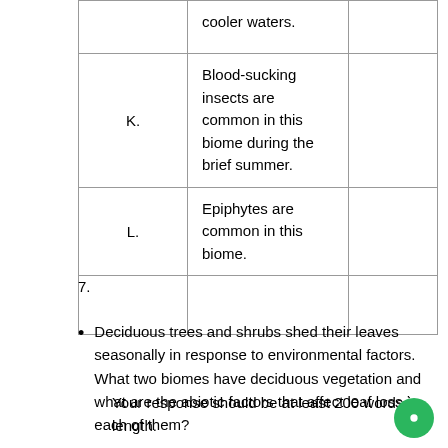|  |  |  |
| --- | --- | --- |
|  | cooler waters. |  |
| K. | Blood-sucking insects are common in this biome during the brief summer. |  |
| L. | Epiphytes are common in this biome. |  |
|  |  |  |
7.
Deciduous trees and shrubs shed their leaves seasonally in response to environmental factors. What two biomes have deciduous vegetation and what are the abiotic factors that affect leaf loss in each of them?
Your response should be at least 200 words in length.